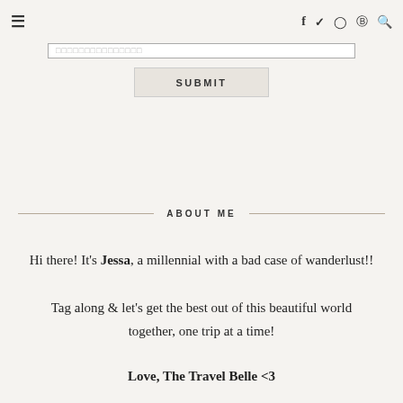≡  f  ✓  ⊙  ℗  🔍
[Figure (screenshot): Submit button with a partially visible input field above it, on a light beige background]
ABOUT ME
Hi there! It's Jessa, a millennial with a bad case of wanderlust!!
Tag along & let's get the best out of this beautiful world together, one trip at a time!
Love, The Travel Belle <3